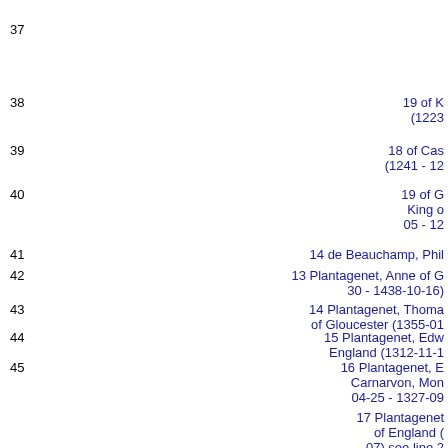37
38   19 of K... (1223
39   18 of Cas... (1241 - 12...
40   19 of G... King o... 05 - 12...
41   14 de Beauchamp, Phil...
42   13 Plantagenet, Anne of G... 30 - 1438-10-16)
43   14 Plantagenet, Thoma... of Gloucester (1355-01...
44   15 Plantagenet, Edw... England (1312-11-1...
45   16 Plantagenet, ... Carnarvon, Mon... 04-25 - 1327-09...
17 Plantagenet... of England (... 07) see line 2...
17 of Engl...